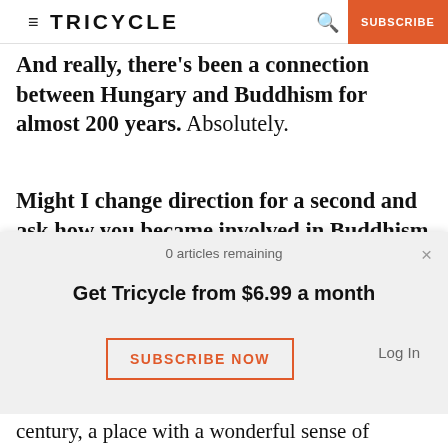≡ TRICYCLE | SUBSCRIBE
And really, there's been a connection between Hungary and Buddhism for almost 200 years. Absolutely.
Might I change direction for a second and ask how you became involved in Buddhism yourself? As is true for everyone else, there has been uncertainty in my life. But looking back, becoming involved in the dharma, having it become
0 articles remaining
Get Tricycle from $6.99 a month
SUBSCRIBE NOW
Log In
century, a place with a wonderful sense of tradition.